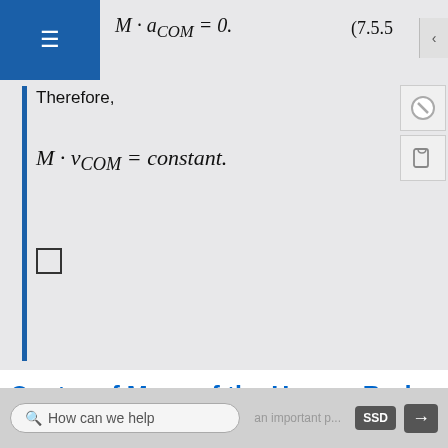Therefore,
Center of Mass of the Human Body
The center of mass (COM) is an important physical concept—it is the point about which objects rotate.
learning objectives
Estimate the COM of a given object